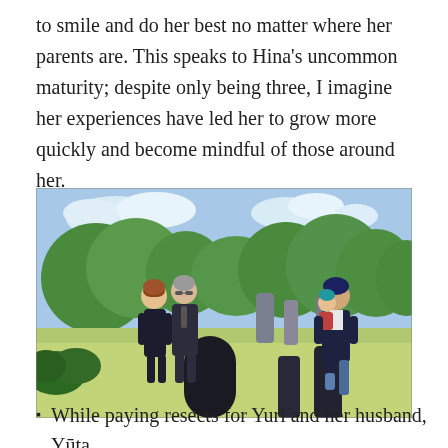to smile and do her best no matter where her parents are. This speaks to Hina's uncommon maturity; despite only being three, I imagine her experiences have led her to grow more quickly and become mindful of those around her.
[Figure (illustration): Anime scene showing two groups of characters at a cemetery. On the left, a woman with short brown hair and a man with glasses, both in dark clothes. On the right, a young man in a suit carrying a small child on his back. Stone grave markers are visible in the foreground and background, with trees behind the characters.]
While paying resects for Yuri and her husband, Yūta